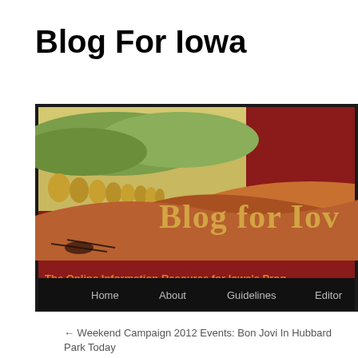Blog For Iowa
[Figure (screenshot): Blog For Iowa website banner. Dark red background with an Iowa regionalist painting showing rolling fields and haystacks on the left. Large golden serif text reads 'Blog for Iow' (cropped). Below the image, an orange bold subtitle reads 'The Online Information Resource for Iowa's Prog' (cropped). A black navigation bar at the bottom contains white/gray text links: Home, About, Guidelines, Editor.]
← Weekend Campaign 2012 Events: Bon Jovi In Hubbard Park Today